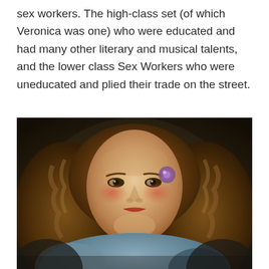Venetian society, there were two different classes of sex workers.  The high-class set (of which Veronica was one) who were educated and had many other literary and musical talents, and the lower class Sex Workers who were uneducated and plied their trade on the street.
[Figure (photo): A classical portrait painting of a young woman with long curly auburn/brown hair adorned with a jeweled ornament. She has rosy cheeks, red lips, and wears a pearl necklace and a light blue dress. The background is dark and muted, consistent with Renaissance or Baroque portrait style.]